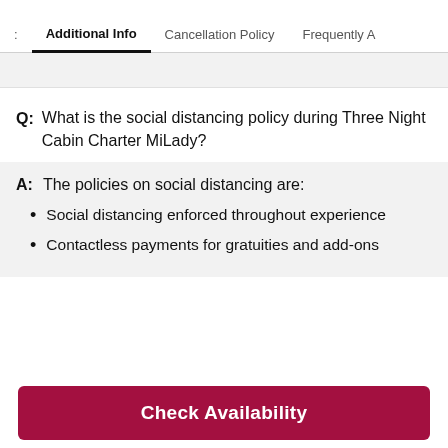Additional Info | Cancellation Policy | Frequently A
Q: What is the social distancing policy during Three Night Cabin Charter MiLady?
A: The policies on social distancing are:
Social distancing enforced throughout experience
Contactless payments for gratuities and add-ons
Check Availability